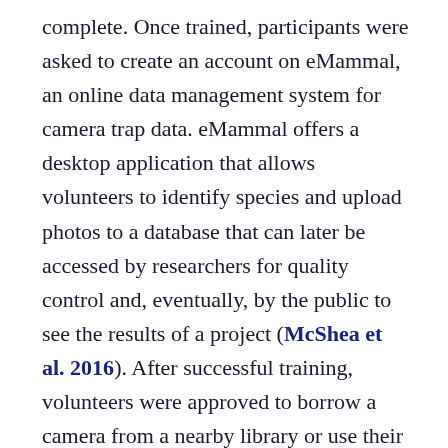complete. Once trained, participants were asked to create an account on eMammal, an online data management system for camera trap data. eMammal offers a desktop application that allows volunteers to identify species and upload photos to a database that can later be accessed by researchers for quality control and, eventually, by the public to see the results of a project (McShea et al. 2016). After successful training, volunteers were approved to borrow a camera from a nearby library or use their personal camera if it possessed a trigger speed greater than 0.5 seconds and an infrared flash. We partnered with 63 libraries across North Carolina to distribute camera traps and accessories (lock, key, batteries, memory card) to volunteers (Figure 1). We used shared Google Sheets for